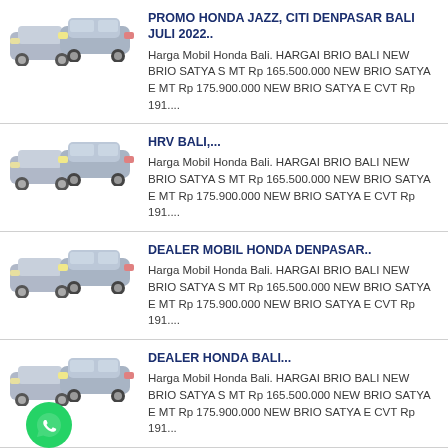PROMO HONDA JAZZ, CITI DENPASAR BALI JULI 2022.. — Harga Mobil Honda Bali. HARGAI BRIO BALI NEW BRIO SATYA S MT Rp 165.500.000 NEW BRIO SATYA E MT Rp 175.900.000 NEW BRIO SATYA E CVT Rp 191....
HRV BALI,... — Harga Mobil Honda Bali. HARGAI BRIO BALI NEW BRIO SATYA S MT Rp 165.500.000 NEW BRIO SATYA E MT Rp 175.900.000 NEW BRIO SATYA E CVT Rp 191....
DEALER MOBIL HONDA DENPASAR.. — Harga Mobil Honda Bali. HARGAI BRIO BALI NEW BRIO SATYA S MT Rp 165.500.000 NEW BRIO SATYA E MT Rp 175.900.000 NEW BRIO SATYA E CVT Rp 191....
DEALER HONDA BALI... — Harga Mobil Honda Bali. HARGAI BRIO BALI NEW BRIO SATYA S MT Rp 165.500.000 NEW BRIO SATYA E MT Rp 175.900.000 NEW BRIO SATYA E CVT Rp 191...
HARGA HONDA KUTARAYA.. — Harga Mobil Honda Bali. HARGAI BRIO BALI NEW BRIO